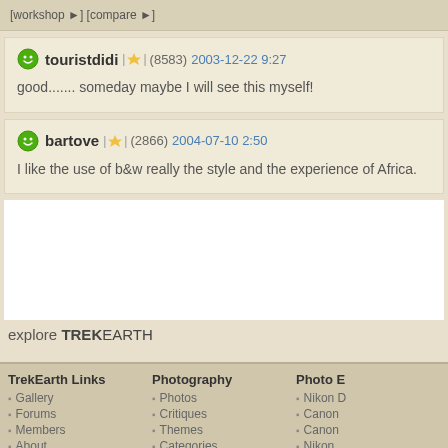[workshop ▶] [compare ▶]
touristdidi | ★ | (8583) 2003-12-22 9:27
good....... someday maybe I will see this myself!
bartove | ★ | (2866) 2004-07-10 2:50
I like the use of b&w really the style and the experience of Africa.
explore TREKEARTH
TrekEarth Links
Gallery
Forums
Members
About
Photography
Photos
Critiques
Themes
Categories
Photo E
Nikon D
Canon
Canon
Nikon